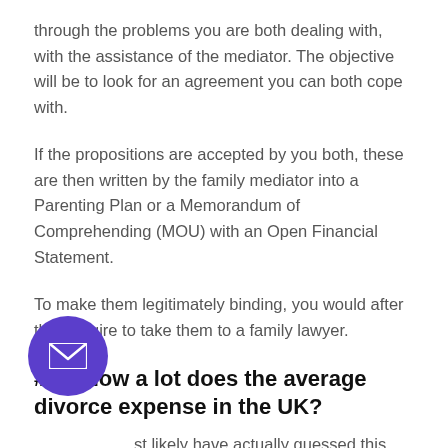through the problems you are both dealing with, with the assistance of the mediator. The objective will be to look for an agreement you can both cope with.
If the propositions are accepted by you both, these are then written by the family mediator into a Parenting Plan or a Memorandum of Comprehending (MOU) with an Open Financial Statement.
To make them legitimately binding, you would after that require to take them to a family lawyer.
# 12 How a lot does the average divorce expense in the UK?
st likely have actually guessed this, however divorces are constantly less expensive if you can stay